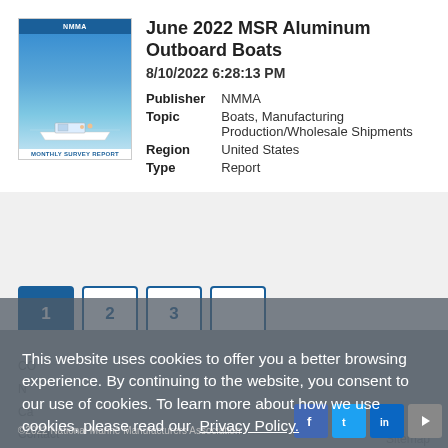[Figure (screenshot): Thumbnail image of the June 2022 MSR Aluminum Outboard Boats report cover, showing NMMA logo and boat on water]
June 2022 MSR Aluminum Outboard Boats
8/10/2022 6:28:13 PM
| Publisher | NMMA |
| Topic | Boats, Manufacturing Production/Wholesale Shipments |
| Region | United States |
| Type | Report |
This website uses cookies to offer you a better browsing experience. By continuing to the website, you consent to our use of cookies. To learn more about how we use cookies, please read our Privacy Policy.
Continue